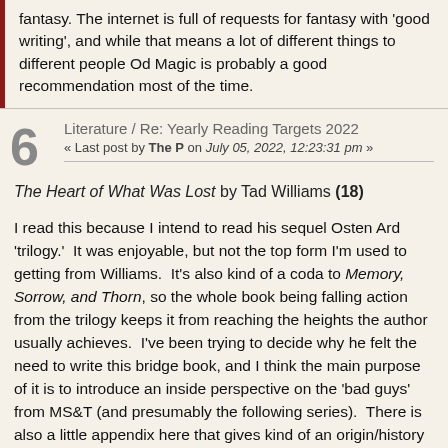fantasy. The internet is full of requests for fantasy with 'good writing', and while that means a lot of different things to different people Od Magic is probably a good recommendation most of the time.
Literature / Re: Yearly Reading Targets 2022
« Last post by The P on July 05, 2022, 12:23:31 pm »
The Heart of What Was Lost by Tad Williams (18)
I read this because I intend to read his sequel Osten Ard 'trilogy.'  It was enjoyable, but not the top form I'm used to getting from Williams.  It's also kind of a coda to Memory, Sorrow, and Thorn, so the whole book being falling action from the trilogy keeps it from reaching the heights the author usually achieves.  I've been trying to decide why he felt the need to write this bridge book, and I think the main purpose of it is to introduce an inside perspective on the 'bad guys' from MS&T (and presumably the following series).  There is also a little appendix here that gives kind of an origin/history of the Sithi/Norns.  I'm not sure if it has any new information